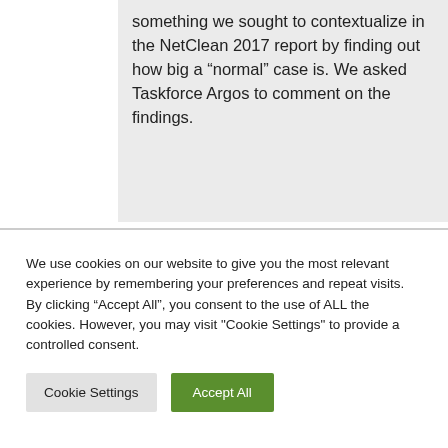something we sought to contextualize in the NetClean 2017 report by finding out how big a “normal” case is. We asked Taskforce Argos to comment on the findings.
We use cookies on our website to give you the most relevant experience by remembering your preferences and repeat visits. By clicking “Accept All”, you consent to the use of ALL the cookies. However, you may visit "Cookie Settings" to provide a controlled consent.
Cookie Settings
Accept All